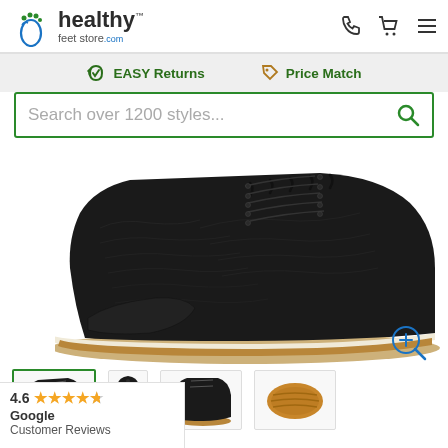healthy feet store .com
EASY Returns   Price Match
Search over 1200 styles...
[Figure (photo): Close-up photo of a black leather lace-up boot with cream/beige rubber sole on white background]
[Figure (photo): Four thumbnail views of the same black boot: front/side view, front view, side profile, and sole view]
4.6 ★★★★★ Google Customer Reviews